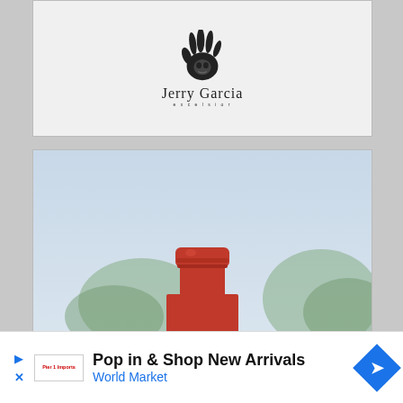[Figure (logo): Jerry Garcia Excelsior logo: black handprint with fingers raised, cursive 'Jerry Garcia' text below, with 'excelsior' in small caps beneath]
[Figure (photo): Photo of a red wine bottle cap/top against a light blue-gray background with blurred green foliage in the background]
[Figure (other): Advertisement banner: 'Pop in & Shop New Arrivals / World Market' with World Market logo, blue directional arrow icon. Play and close controls on left.]